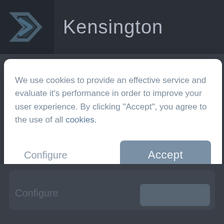[Figure (logo): Kensington brand logo: dark background with stylized K chevron icon and 'Kensington' text in light gray]
We use cookies to provide an effective service and evaluate it's performance in order to improve your user experience. By clicking "Accept", you agree to the use of all cookies.
Configure
Accept